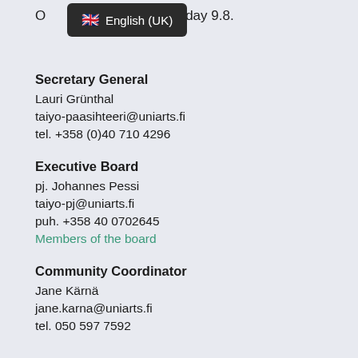O... tuesday 9.8.
[Figure (screenshot): Language selector dropdown showing 'English (UK)' with UK flag emoji on dark background]
Secretary General
Lauri Grünthal
taiyo-paasihteeri@uniarts.fi
tel. +358 (0)40 710 4296
Executive Board
pj. Johannes Pessi
taiyo-pj@uniarts.fi
puh. +358 40 0702645
Members of the board
Community Coordinator
Jane Kärnä
jane.karna@uniarts.fi
tel. 050 597 7592